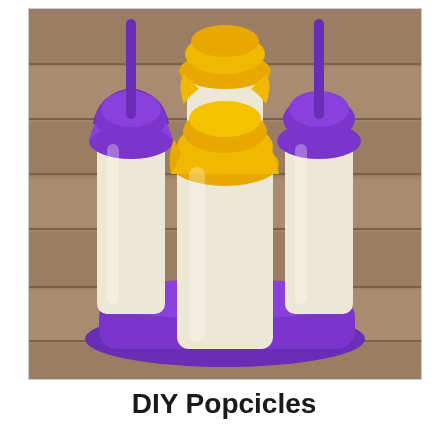[Figure (photo): Photo of DIY popsicle molds on a wooden surface. Four popsicle molds sit in a purple base/tray. Two molds have purple lids with sticks inserted, and two molds have yellow/orange lids. The mold bodies are cream/white colored. The background shows wooden planks.]
DIY Popcicles